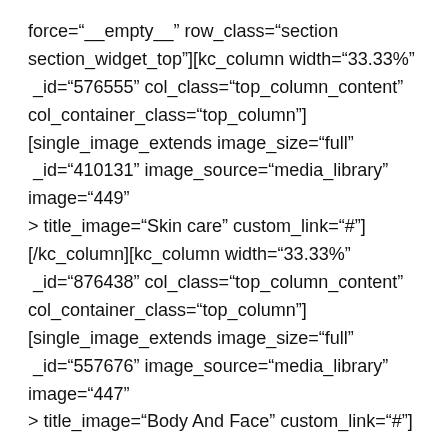force="__empty__" row_class="section section_widget_top"][kc_column width="33.33%" _id="576555" col_class="top_column_content" col_container_class="top_column"] [single_image_extends image_size="full" _id="410131" image_source="media_library" image="449" on_click_action="open_custom_link" title_image="Skin care" custom_link="#"] [/kc_column][kc_column width="33.33%" _id="876438" col_class="top_column_content" col_container_class="top_column"] [single_image_extends image_size="full" _id="557676" image_source="media_library" image="447" on_click_action="open_custom_link" title_image="Body And Face" custom_link="#"]